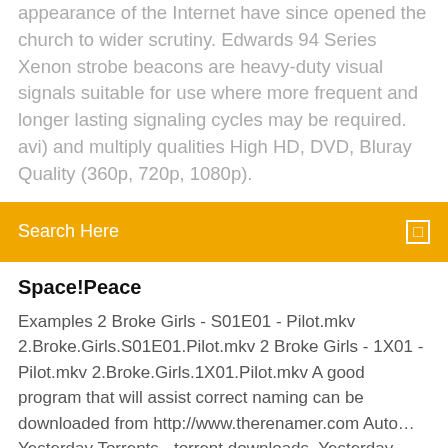appearance of the Internet have since opened the church to wider scrutiny. Edwards 94 Series Xenon strobe beacons are heavy-duty visual signals suitable for use where more frequent and longer lasting signaling cycles may be required. avi) and multiply qualities High HD, DVD, Bluray Quality (360p, 720p, 1080p).
Search Here
Space!Peace
Examples 2 Broke Girls - S01E01 - Pilot.mkv 2.Broke.Girls.S01E01.Pilot.mkv 2 Broke Girls - 1X01 - Pilot.mkv 2.Broke.Girls.1X01.Pilot.mkv A good program that will assist correct naming can be downloaded from http://www.therenamer.com Auto... Yesterday Torrents - torrent downloads, Yesterday Torrents - Bittorrent download source for torrent downloading, movies, music, games, software, tv shows, anime, and other torrents. Friends Season 2